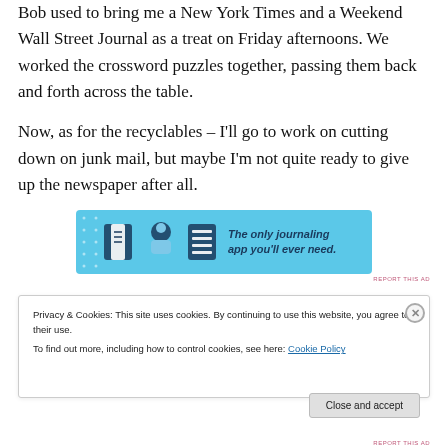Bob used to bring me a New York Times and a Weekend Wall Street Journal as a treat on Friday afternoons. We worked the crossword puzzles together, passing them back and forth across the table.
Now, as for the recyclables – I'll go to work on cutting down on junk mail, but maybe I'm not quite ready to give up the newspaper after all.
[Figure (infographic): Advertisement banner with blue background showing journaling app icons and text 'The only journaling app you'll ever need.']
Privacy & Cookies: This site uses cookies. By continuing to use this website, you agree to their use.
To find out more, including how to control cookies, see here: Cookie Policy
Close and accept